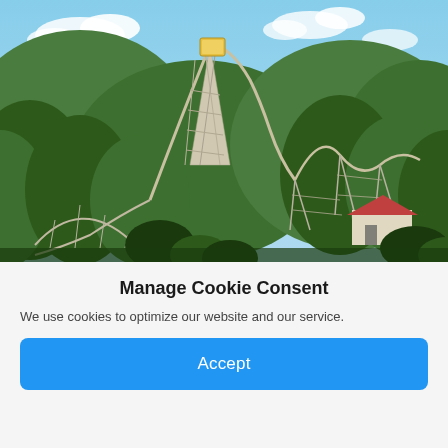[Figure (photo): Aerial view of a large wooden roller coaster with multiple hills and drops, surrounded by dense green trees and a blue sky with clouds. A red-roofed structure is visible at the bottom right of the coaster.]
Manage Cookie Consent
We use cookies to optimize our website and our service.
Accept